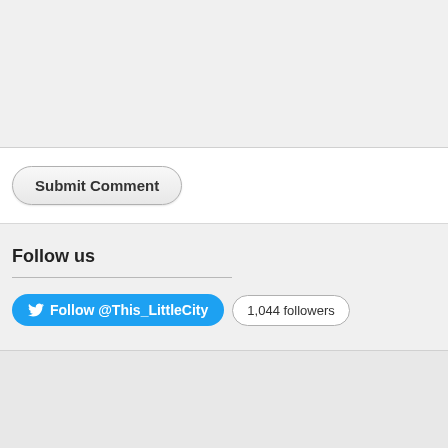[Figure (screenshot): Grey textarea/form input area at top of page]
Submit Comment
Follow us
Follow @This_LittleCity  1,044 followers